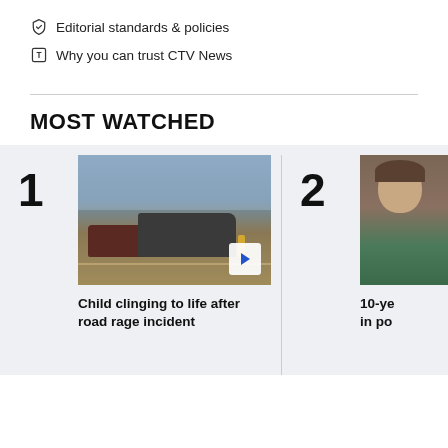Editorial standards & policies
Why you can trust CTV News
MOST WATCHED
[Figure (photo): Road scene with tow truck and emergency responders in high-visibility gear, vehicles involved in an incident on a flat rural highway, dusk lighting]
Child clinging to life after road rage incident
[Figure (photo): Young boy with dark hair wearing a green shirt, partial view cropped at right edge]
10-ye... in po...